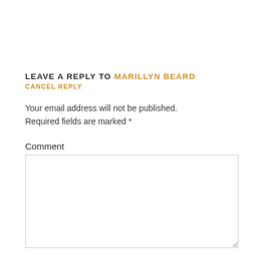LEAVE A REPLY TO MARILLYN BEARD
CANCEL REPLY
Your email address will not be published. Required fields are marked *
Comment
[Figure (other): Empty comment text area input box]